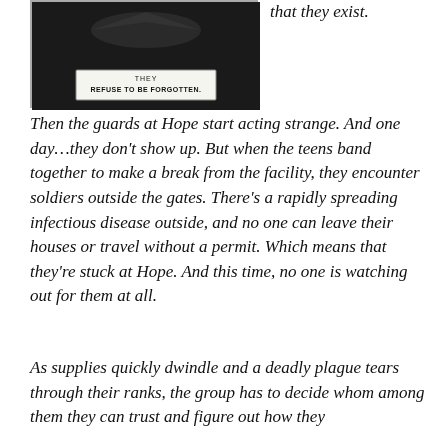[Figure (photo): Dark/black and white photo showing a ribbon or badge with text 'THEY REFUSE TO BE FORGOTTEN.' on a banner against a dark background.]
that they exist.
Then the guards at Hope start acting strange. And one day...they don't show up. But when the teens band together to make a break from the facility, they encounter soldiers outside the gates. There's a rapidly spreading infectious disease outside, and no one can leave their houses or travel without a permit. Which means that they're stuck at Hope. And this time, no one is watching out for them at all.
As supplies quickly dwindle and a deadly plague tears through their ranks, the group has to decide whom among them they can trust and figure out how they